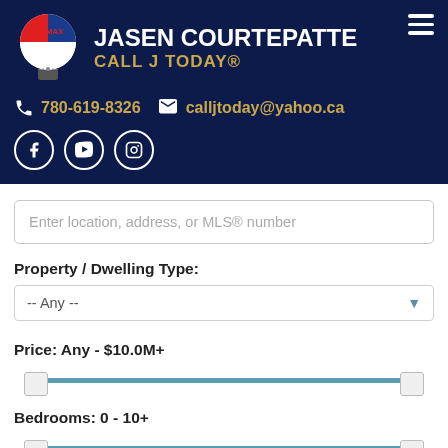[Figure (logo): RE/MAX hot air balloon logo with red/white/blue colors]
JASEN COURTEPATTE
CALL J TODAY®
780-619-8326  calljtoday@yahoo.ca
[Figure (illustration): Social media icons: Facebook, YouTube, Instagram]
Enter location, address, or MLS® number
Property / Dwelling Type:
-- Any --
Price: Any - $10.0M+
Bedrooms: 0 - 10+